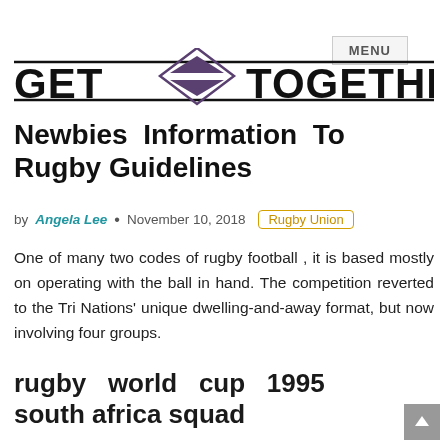MENU
[Figure (logo): GET TOGETHER logo with diamond/arrow graphic between the two words, bold black uppercase text with horizontal lines above and below]
Newbies Information To Rugby Guidelines
by Angela Lee • November 10, 2018   Rugby Union
One of many two codes of rugby football , it is based mostly on operating with the ball in hand. The competition reverted to the Tri Nations' unique dwelling-and-away format, but now involving four groups.
rugby world cup 1995 south africa squad